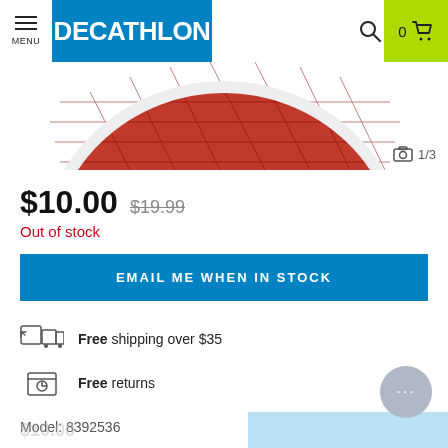MENU | DECATHLON | 0 (cart)
[Figure (photo): Partial view of a red sports ball/product on white background, image counter shows 1/3]
$10.00  $19.99
Out of stock
EMAIL ME WHEN IN STOCK
Free shipping over $35
Free returns
Model: 8392536